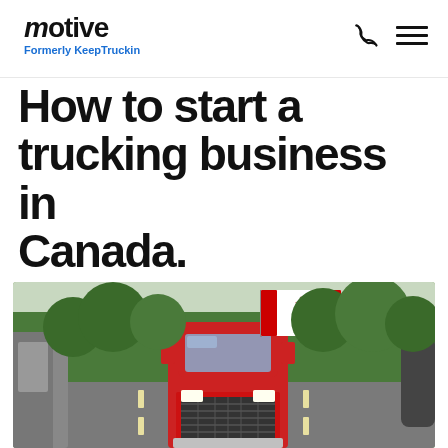Motive — Formerly KeepTruckin
How to start a trucking business in Canada.
[Figure (photo): A red semi-truck driving on a highway toward the camera, with a Canadian flag flying from the truck, green trees in background, viewed from a car's perspective]